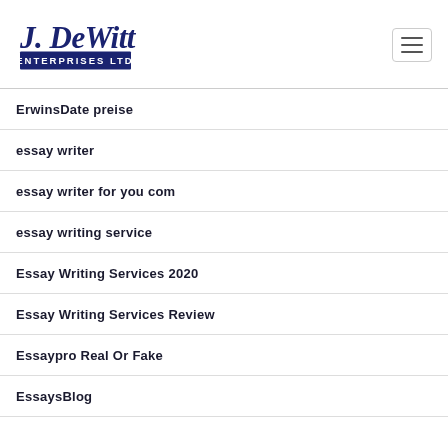[Figure (logo): J. DeWitt Enterprises Ltd logo in navy blue script and block letters]
ErwinsDate preise
essay writer
essay writer for you com
essay writing service
Essay Writing Services 2020
Essay Writing Services Review
Essaypro Real Or Fake
EssaysBlog